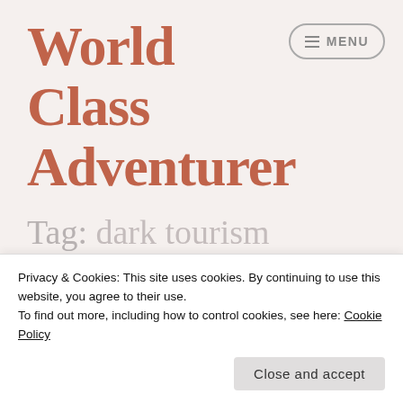World Class Adventurer
[Figure (other): Menu button with hamburger icon and text MENU inside a rounded rectangle border]
Tag: dark tourism
[Figure (other): Document/page icon in a dark grey rounded shield shape]
Dark Tourism Th...
Privacy & Cookies: This site uses cookies. By continuing to use this website, you agree to their use.
To find out more, including how to control cookies, see here: Cookie Policy
Close and accept
JULY 8, 2020 ♦ LEAVE A COMMENT